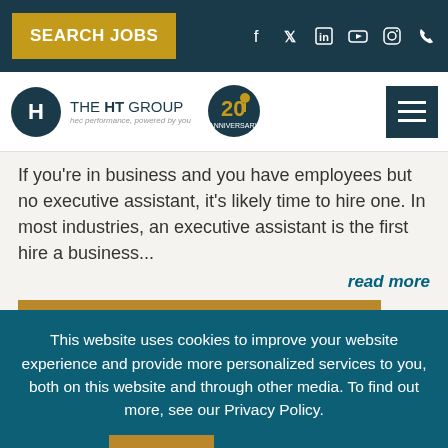SEARCH JOBS
[Figure (logo): THE HT GROUP logo with circular H icon and 20th anniversary badge]
If you're in business and you have employees but no executive assistant, it's likely time to hire one. In most industries, an executive assistant is the first hire a business...
read more
This website uses cookies to improve your website experience and provide more personalized services to you, both on this website and through other media. To find out more, see our Privacy Policy.
Accept
Privacy Policy